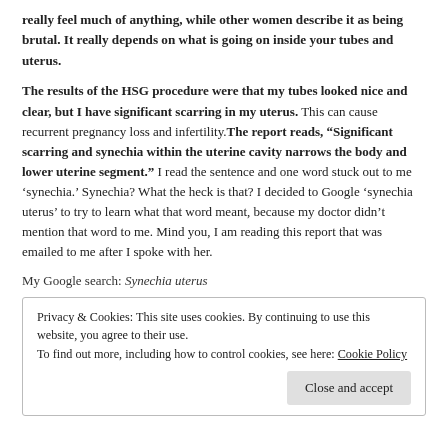really feel much of anything, while other women describe it as being brutal. It really depends on what is going on inside your tubes and uterus.
The results of the HSG procedure were that my tubes looked nice and clear, but I have significant scarring in my uterus. This can cause recurrent pregnancy loss and infertility. The report reads, "Significant scarring and synechia within the uterine cavity narrows the body and lower uterine segment." I read the sentence and one word stuck out to me 'synechia.' Synechia? What the heck is that? I decided to Google 'synechia uterus' to try to learn what that word meant, because my doctor didn't mention that word to me. Mind you, I am reading this report that was emailed to me after I spoke with her.
My Google search: Synechia uterus
Privacy & Cookies: This site uses cookies. By continuing to use this website, you agree to their use.
To find out more, including how to control cookies, see here: Cookie Policy
Close and accept